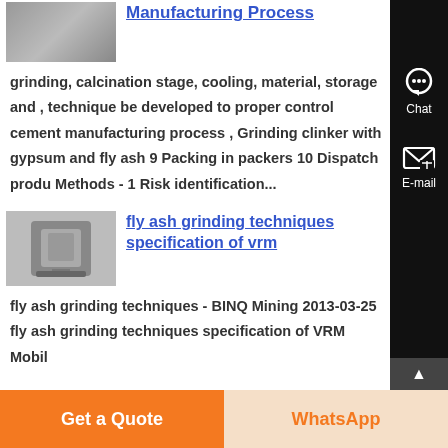Manufacturing Process
grinding, calcination stage, cooling, material, storage and , technique be developed to proper control cement manufacturing process , Grinding clinker with gypsum and fly ash 9 Packing in packers 10 Dispatch produ Methods - 1 Risk identification...
[Figure (photo): Thumbnail image of industrial equipment]
fly ash grinding techniques specification of vrm
fly ash grinding techniques - BINQ Mining 2013-03-25 fly ash grinding techniques specification of VRM Mobil...